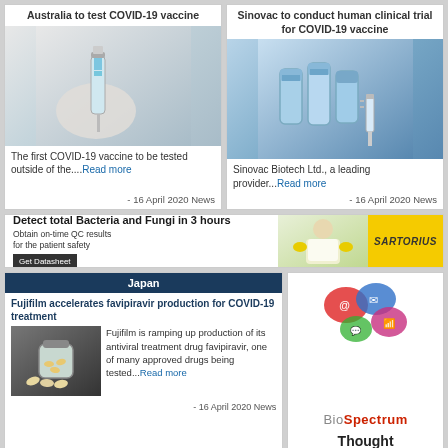Australia to test COVID-19 vaccine
[Figure (photo): Hand holding a syringe with vaccine]
The first COVID-19 vaccine to be tested outside of the....Read more
- 16 April 2020 News
Sinovac to conduct human clinical trial for COVID-19 vaccine
[Figure (photo): Blue vaccine vials and syringe]
Sinovac Biotech Ltd., a leading provider...Read more
- 16 April 2020 News
[Figure (photo): Sartorius banner ad: Detect total Bacteria and Fungi in 3 hours. Obtain on-time QC results for the patient safety. Get Datasheet button. Lab worker image. SARTORIUS yellow logo.]
Japan
Fujifilm accelerates favipiravir production for COVID-19 treatment
[Figure (photo): Glass jar with pills on dark background]
Fujifilm is ramping up production of its antiviral treatment drug favipiravir, one of many approved drugs being tested... Read more
- 16 April 2020 News
[Figure (illustration): BioSpectrum panel with colorful chat bubble icons and text 'BioSpectrum' and 'Thought']